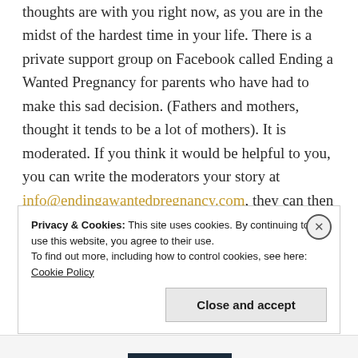thoughts are with you right now, as you are in the midst of the hardest time in your life. There is a private support group on Facebook called Ending a Wanted Pregnancy for parents who have had to make this sad decision. (Fathers and mothers, thought it tends to be a lot of mothers). It is moderated. If you think it would be helpful to you, you can write the moderators your story at info@endingawantedpregnancy.com, they can then add you to the group.
Privacy & Cookies: This site uses cookies. By continuing to use this website, you agree to their use. To find out more, including how to control cookies, see here: Cookie Policy